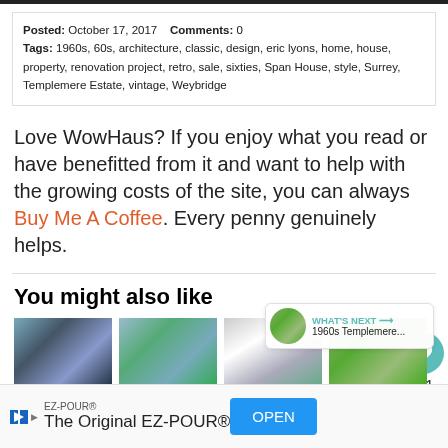Posted: October 17, 2017   Comments: 0
Tags: 1960s, 60s, architecture, classic, design, eric lyons, home, house, property, renovation project, retro, sale, sixties, Span House, style, Surrey, Templemere Estate, vintage, Weybridge
Love WowHaus? If you enjoy what you read or have benefitted from it and want to help with the growing costs of the site, you can always Buy Me A Coffee. Every penny genuinely helps.
You might also like
[Figure (photo): Thumbnail image 1 of related property]
[Figure (photo): Thumbnail image 2 of related property]
[Figure (photo): Thumbnail image 3 of related property]
[Figure (photo): Thumbnail image 4 of related property]
EZ-POUR®
The Original EZ-POUR®
WHAT'S NEXT → 1960s Templemere...